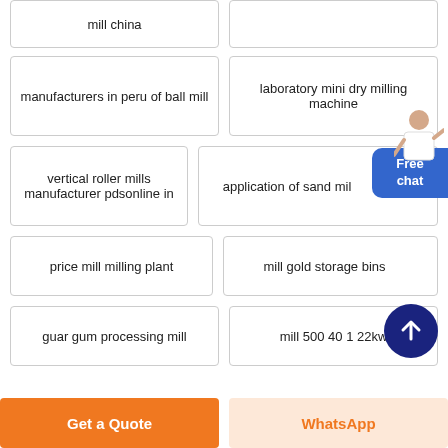mill china
manufacturers in peru of ball mill
laboratory mini dry milling machine
vertical roller mills manufacturer pdsonline in
application of sand mill
price mill milling plant
mill gold storage bins
guar gum processing mill
mill 500 40 1 22kw
Get a Quote
WhatsApp